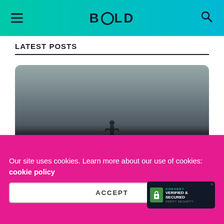BOLD — navigation header with hamburger menu and search icon
LATEST POSTS
[Figure (photo): Blurred silhouette of a person in a misty/foggy background with article title overlay: Namrata Purohit Shares Some Tips To Prep Up Your Fitness Game For The Upcoming Wedding Season]
Our site uses cookies. Learn more about our use of cookies: cookie policy
ACCEPT